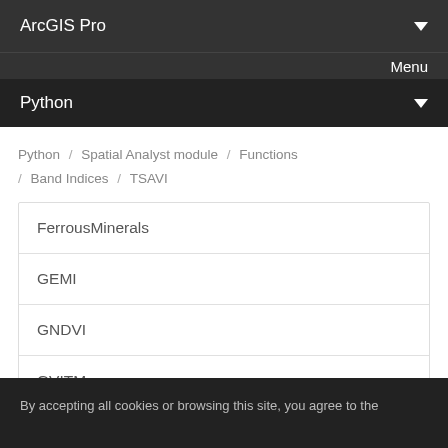ArcGIS Pro
Menu
Python
Python / Spatial Analyst module / Functions / Band Indices / TSAVI
FerrousMinerals
GEMI
GNDVI
GVITM
IronOxide
By accepting all cookies or browsing this site, you agree to the